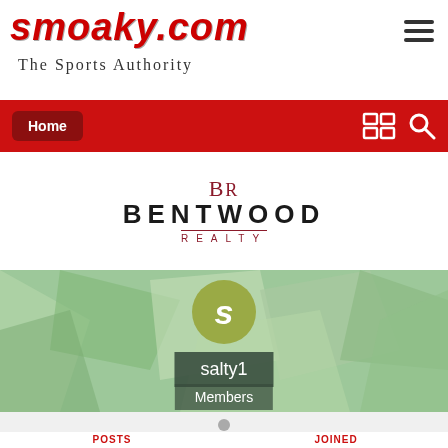[Figure (logo): Smoaky.com The Sports Authority website header logo with red stylized text and hamburger menu icon]
[Figure (screenshot): Red navigation bar with Home button and search/grid icons on the right]
[Figure (logo): Bentwood Realty logo with BR monogram and company name]
[Figure (screenshot): User profile banner with green geometric polygon background, avatar circle with letter S, username salty1 and Members badge]
POSTS
JOINED